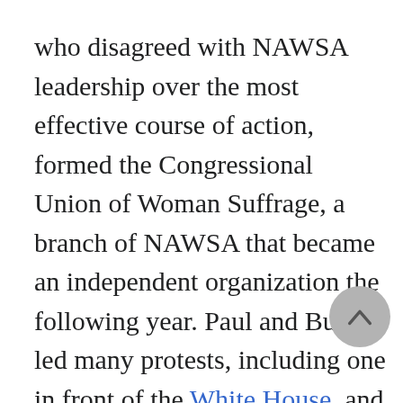who disagreed with NAWSA leadership over the most effective course of action, formed the Congressional Union of Woman Suffrage, a branch of NAWSA that became an independent organization the following year. Paul and Burns led many protests, including one in front of the White House, and a well-publicized hunger strike that brought widespread public attention to the suffragists's cause. They formed the National Women's Party in 1916, the